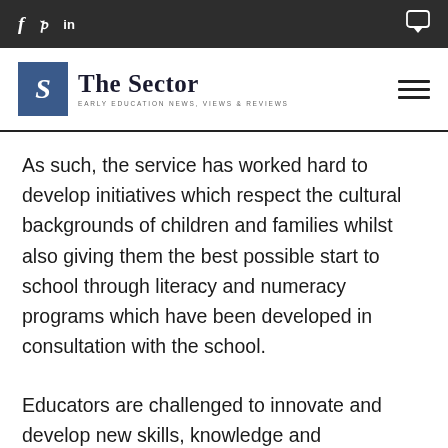f  t  in  [chat icon]
[Figure (logo): The Sector logo — blue square with stylized S, text 'The Sector', subtitle 'EARLY EDUCATION NEWS, VIEWS & REVIEWS']
As such, the service has worked hard to develop initiatives which respect the cultural backgrounds of children and families whilst also giving them the best possible start to school through literacy and numeracy programs which have been developed in consultation with the school.
Educators are challenged to innovate and develop new skills, knowledge and approaches through attendance at professional development opportunities, as well as working with literacy and